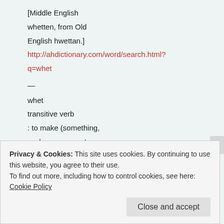[Middle English whetten, from Old English hwettan.]
http://ahdictionary.com/word/search.html?q=whet
—
whet
transitive verb
: to make (something, such as a person's appetite or curiosity) sharper or stronger
Full Definition of
WHET
Privacy & Cookies: This site uses cookies. By continuing to use this website, you agree to their use.
To find out more, including how to control cookies, see here: Cookie Policy
Close and accept